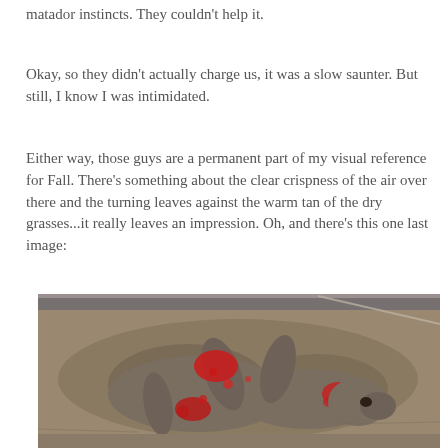matador instincts.  They couldn't help it.
Okay, so they didn't actually charge us, it was a slow saunter.  But still, I know I was intimidated.
Either way, those guys are a permanent part of my visual reference for Fall.  There's something about the clear crispness of the air over there and the turning leaves against the warm tan of the dry grasses...it really leaves an impression.  Oh, and there's this one last image:
[Figure (photo): A photograph of an injured or dead animal (appears to be a deer or similar mammal) lying on sandy/dusty ground with visible blood and wounds]